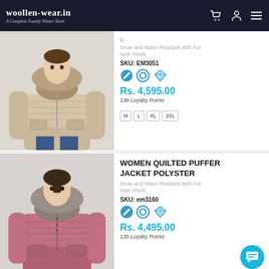woollen-wear.in — A Complete Family Winter Store
[Figure (photo): Woman wearing beige quilted puffer jacket with fur-trimmed hood]
SKU: EM3051
Snow and Water Resistant With Fur layer Inside
Rs. 4,595.00
138 Loyalty Points
M  L  XL  2XL
[Figure (photo): Woman wearing pink/rose quilted puffer jacket with fur-trimmed hood]
WOMEN QUILTED PUFFER JACKET POLYSTER
Snow and Water Resistant With Fur layer Inside
SKU: em3160
Rs. 4,495.00
135 Loyalty Points